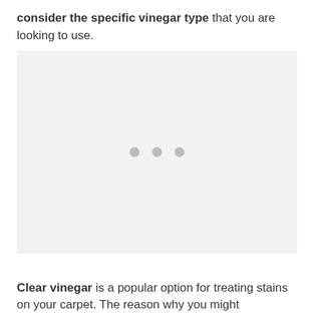consider the specific vinegar type that you are looking to use.
[Figure (photo): Image placeholder with three gray dots indicating loading or missing image]
Clear vinegar is a popular option for treating stains on your carpet. The reason why you might